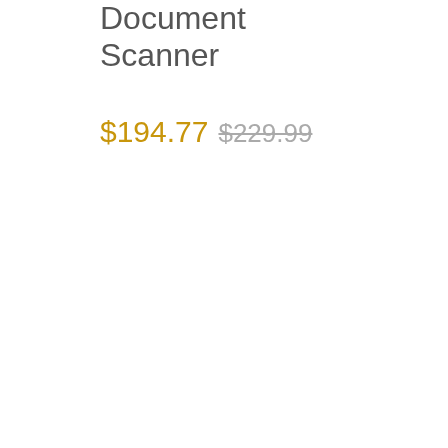Document Scanner
$194.77 $229.99